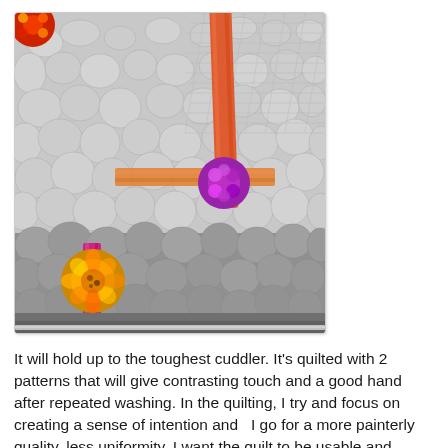[Figure (photo): Close-up photograph of a quilt showing textured gray fabric with pebble-like quilting patterns. Colorful circular fabric patches in orange, pink/magenta, and yellow-orange floral prints are visible, connected by ribbon-like strips in orange/coral and bright pink colors running diagonally across the gray quilted surface.]
It will hold up to the toughest cuddler. It's quilted with 2 patterns that will give contrasting touch and a good hand after repeated washing. In the quilting, I try and focus on creating a sense of intention and  I go for a more painterly quality, less uniformity. I want the quilt to be usable and comfy, not stiff or precious like a show quilt.